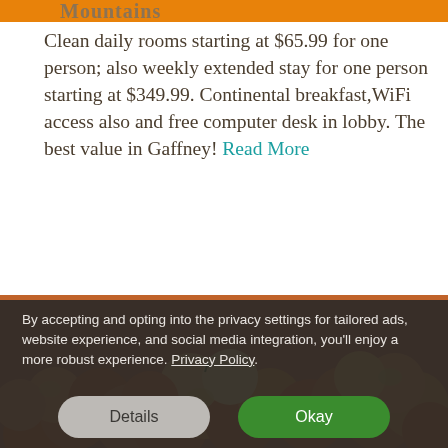Mountains
Clean daily rooms starting at $65.99 for one person; also weekly extended stay for one person starting at $349.99. Continental breakfast,WiFi access also and free computer desk in lobby. The best value in Gaffney! Read More
[Figure (photo): Baskets of fresh peaches displayed at a market]
By accepting and opting into the privacy settings for tailored ads, website experience, and social media integration, you'll enjoy a more robust experience. Privacy Policy
Details
Okay